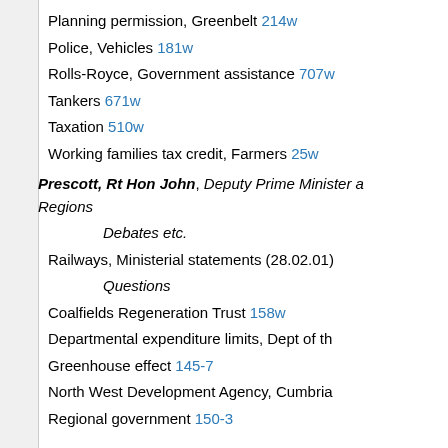Planning permission, Greenbelt 214w
Police, Vehicles 181w
Rolls-Royce, Government assistance 707w
Tankers 671w
Taxation 510w
Working families tax credit, Farmers 25w
Prescott, Rt Hon John, Deputy Prime Minister and Secretary of State for the Environment, Transport and the Regions
Debates etc.
Railways, Ministerial statements (28.02.01)
Questions
Coalfields Regeneration Trust 158w
Departmental expenditure limits, Dept of th
Greenhouse effect 145-7
North West Development Agency, Cumbria
Regional government 150-3